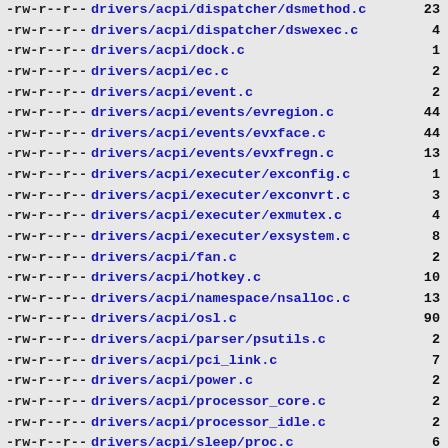-rw-r--r-- drivers/acpi/dispatcher/dsmethod.c 23
-rw-r--r-- drivers/acpi/dispatcher/dswexec.c 4
-rw-r--r-- drivers/acpi/dock.c 1
-rw-r--r-- drivers/acpi/ec.c 2
-rw-r--r-- drivers/acpi/event.c 2
-rw-r--r-- drivers/acpi/events/evregion.c 44
-rw-r--r-- drivers/acpi/events/evxface.c 44
-rw-r--r-- drivers/acpi/events/evxfregn.c 13
-rw-r--r-- drivers/acpi/executer/exconfig.c 1
-rw-r--r-- drivers/acpi/executer/exconvrt.c 3
-rw-r--r-- drivers/acpi/executer/exmutex.c 4
-rw-r--r-- drivers/acpi/executer/exsystem.c 8
-rw-r--r-- drivers/acpi/fan.c 2
-rw-r--r-- drivers/acpi/hotkey.c 10
-rw-r--r-- drivers/acpi/namespace/nsalloc.c 13
-rw-r--r-- drivers/acpi/osl.c 90
-rw-r--r-- drivers/acpi/parser/psutils.c 2
-rw-r--r-- drivers/acpi/pci_link.c 7
-rw-r--r-- drivers/acpi/power.c 2
-rw-r--r-- drivers/acpi/processor_core.c 2
-rw-r--r-- drivers/acpi/processor_idle.c 2
-rw-r--r-- drivers/acpi/sleep/proc.c 6
-rw-r--r-- drivers/acpi/system.c 6
-rw-r--r-- drivers/acpi/tables/tbget.c 12